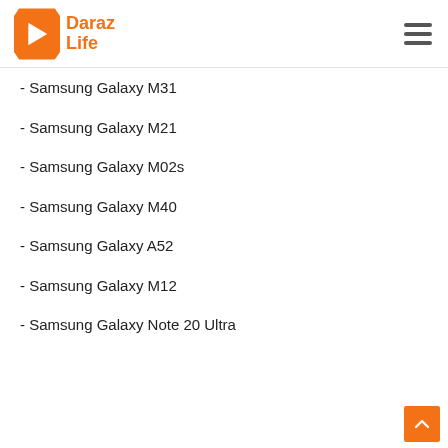Daraz Life
- Samsung Galaxy M31
- Samsung Galaxy M21
- Samsung Galaxy M02s
- Samsung Galaxy M40
- Samsung Galaxy A52
- Samsung Galaxy M12
- Samsung Galaxy Note 20 Ultra